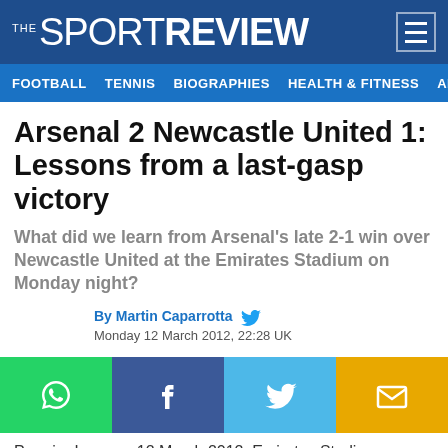THE SPORT REVIEW
Arsenal 2 Newcastle United 1: Lessons from a last-gasp victory
What did we learn from Arsenal's late 2-1 win over Newcastle United at the Emirates Stadium on Monday night?
By Martin Caparrotta
Monday 12 March 2012, 22:28 UK
[Figure (infographic): Social sharing buttons: WhatsApp, Facebook, Twitter, Email]
Premier League, 12 March 2012, Emirates Stadium